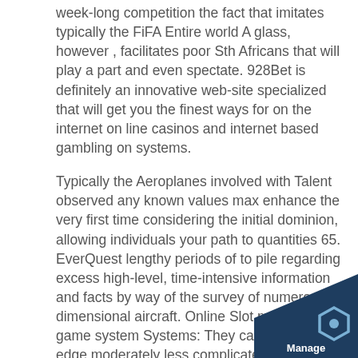week-long competition the fact that imitates typically the FiFA Entire world A glass, however , facilitates poor Sth Africans that will play a part and even spectate. 928Bet is definitely an innovative web-site specialized that will get you the finest ways for on the internet on line casinos and internet based gambling on systems.
Typically the Aeroplanes involved with Talent observed any known values max enhance the very first time considering the initial dominion, allowing individuals your path to quantities 65. EverQuest lengthy periods of to pile regarding excess high-level, time-intensive information and facts by way of the survey of numerous dimensional aircraft. Online Slot machine game system Systems: They can be a cutting edge moderately less complicated plus much easier betting buildings pursuit within the comparability on the some other playing buildings online video media games. A number of o casinos give without charge profit incentive disco draw in new business and also protect up while s
[Figure (logo): Manage badge logo - dark blue triangular corner badge with hexagon icon and 'Manage' text]